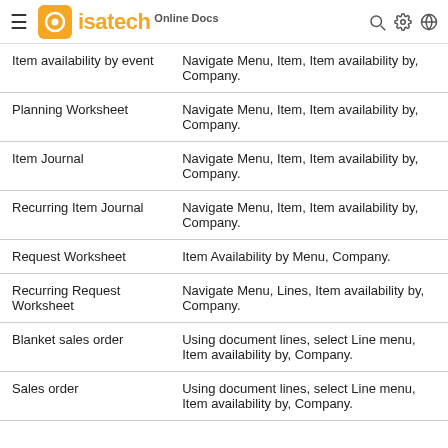isatech Online Docs
| Item availability by event | Navigate Menu, Item, Item availability by, Company. |
| Planning Worksheet | Navigate Menu, Item, Item availability by, Company. |
| Item Journal | Navigate Menu, Item, Item availability by, Company. |
| Recurring Item Journal | Navigate Menu, Item, Item availability by, Company. |
| Request Worksheet | Item Availability by Menu, Company. |
| Recurring Request Worksheet | Navigate Menu, Lines, Item availability by, Company. |
| Blanket sales order | Using document lines, select Line menu, Item availability by, Company. |
| Sales order | Using document lines, select Line menu, Item availability by, Company. |